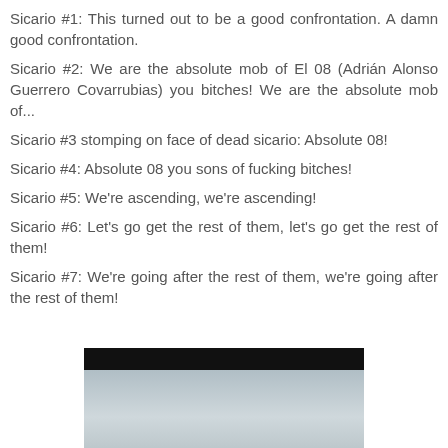Sicario #1: This turned out to be a good confrontation. A damn good confrontation.
Sicario #2: We are the absolute mob of El 08 (Adrián Alonso Guerrero Covarrubias) you bitches! We are the absolute mob of...
Sicario #3 stomping on face of dead sicario: Absolute 08!
Sicario #4: Absolute 08 you sons of fucking bitches!
Sicario #5: We're ascending, we're ascending!
Sicario #6: Let's go get the rest of them, let's go get the rest of them!
Sicario #7: We're going after the rest of them, we're going after the rest of them!
[Figure (photo): Dark-topped image showing a cloudy sky scene, partially cropped at bottom of page]